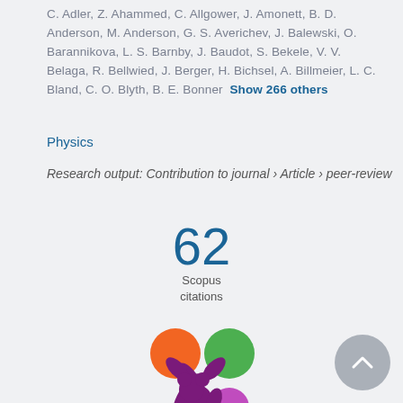C. Adler, Z. Ahammed, C. Allgower, J. Amonett, B. D. Anderson, M. Anderson, G. S. Averichev, J. Balewski, O. Barannikova, L. S. Barnby, J. Baudot, S. Bekele, V. V. Belaga, R. Bellwied, J. Berger, H. Bichsel, A. Billmeier, L. C. Bland, C. O. Blyth, B. E. Bonner  Show 266 others
Physics
Research output: Contribution to journal › Article › peer-review
62
Scopus
citations
[Figure (logo): Altmetric flower logo with orange, green, and purple circles]